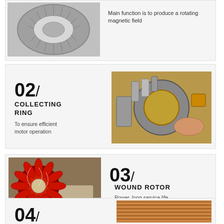[Figure (photo): Close-up photo of electric motor stator laminations (circular stacked steel rings)]
Main function is to produce a rotating magnetic field
[Figure (photo): Photo of collecting ring / slip ring assembly on an electric motor, hands visible during maintenance]
02 COLLECTING RING
To ensure efficient motor operation
[Figure (photo): Photo of wound rotor with red copper windings on shaft]
03 WOUND ROTOR
Power, long service life
[Figure (photo): Partial photo of copper winding material]
04